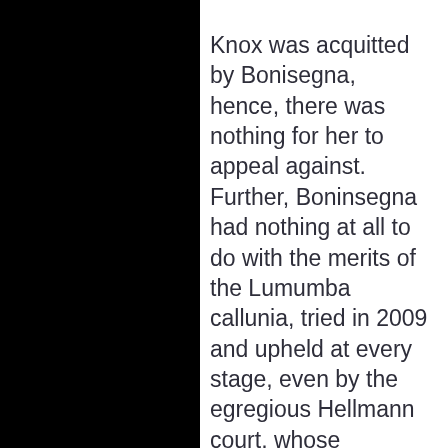Knox was acquitted by Bonisegna, hence, there was nothing for her to appeal against. Further, Boninsegna had nothing at all to do with the merits of the Lumumba callunia, tried in 2009 and upheld at every stage, even by the egregious Hellmann court, whose judgement